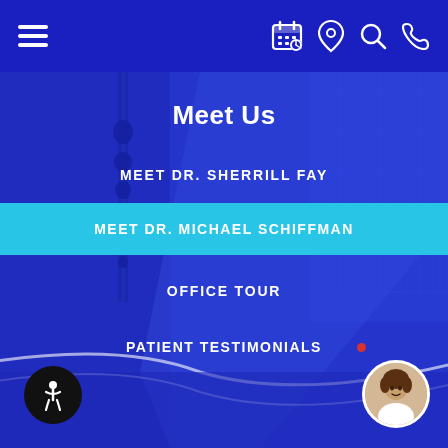[Figure (screenshot): Mobile navigation bar with hamburger menu on left and icons (calendar, location, search, phone) on right, white on dark blue background]
Meet Us
MEET DR. SHERRILL FAY
MEET DR. MICHAEL SCHIFFMAN
OFFICE TOUR
PATIENT TESTIMONIALS
[Figure (illustration): Accessibility wheelchair icon in black circle, bottom left]
[Figure (photo): Chat support avatar - woman with headset, circular photo, bottom right]